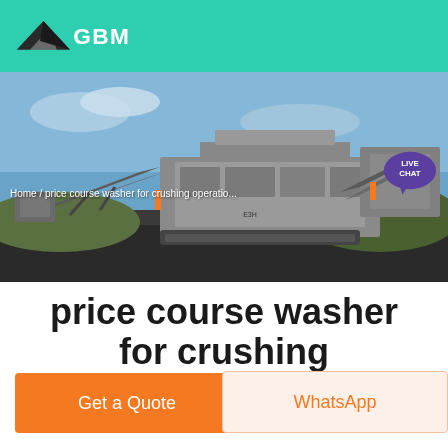GBM
[Figure (photo): Large mobile crushing and screening plant machine on a mine site with conveyor belts, blue sky background. Breadcrumb text visible: Home / price course washer for crushing operatio...]
price course washer for crushing operation
Get a Quote
WhatsApp